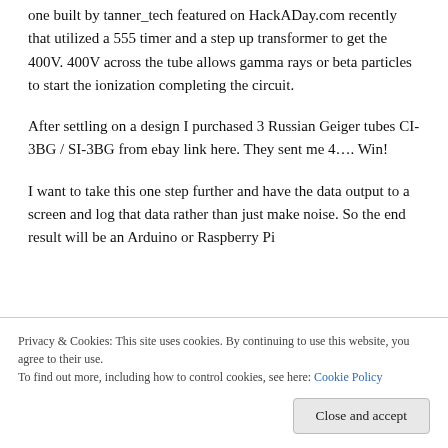one built by tanner_tech featured on HackADay.com recently that utilized a 555 timer and a step up transformer to get the 400V. 400V across the tube allows gamma rays or beta particles to start the ionization completing the circuit.
After settling on a design I purchased 3 Russian Geiger tubes CI-3BG / SI-3BG from ebay link here. They sent me 4…. Win!
I want to take this one step further and have the data output to a screen and log that data rather than just make noise. So the end result will be an Arduino or Raspberry Pi
Privacy & Cookies: This site uses cookies. By continuing to use this website, you agree to their use.
To find out more, including how to control cookies, see here: Cookie Policy